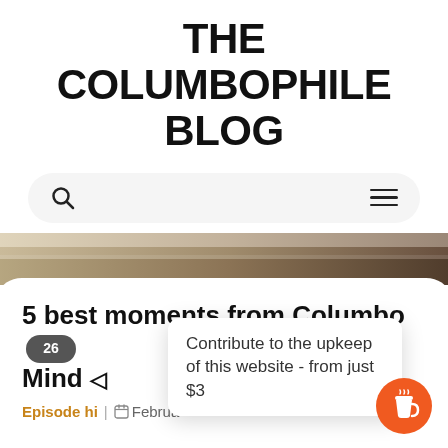THE COLUMBOPHILE BLOG
[Figure (screenshot): Navigation bar with search icon on left and hamburger menu on right, on a light gray rounded pill background]
[Figure (other): Gradient divider strip transitioning from light tan to dark brown, with rounded card below]
5 best moments from Columbo Mind 26
Episode hi  Februa
Contribute to the upkeep of this website - from just $3
[Figure (illustration): Orange circular coffee cup button (Buy Me a Coffee widget)]